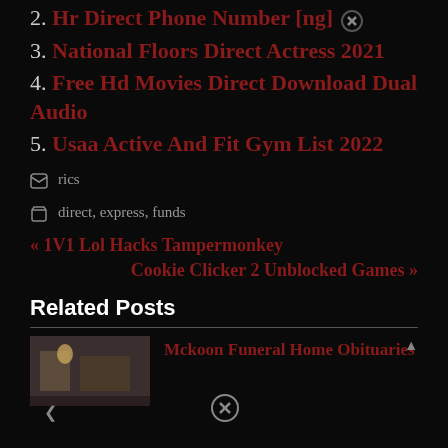2. Hr Direct Phone Number [ng]
3. National Floors Direct Actress 2021
4. Free Hd Movies Direct Download Dual Audio
5. Usaa Active And Fit Gym List 2022
rics
direct, express, funds
« 1V1 Lol Hacks Tampermonkey
Cookie Clicker 2 Unblocked Games »
Related Posts
Mckoon Funeral Home Obituaries